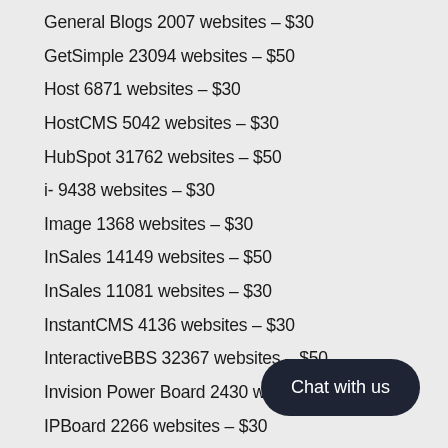General Blogs 2007 websites – $30
GetSimple 23094 websites – $50
Host 6871 websites – $30
HostCMS 5042 websites – $30
HubSpot 31762 websites – $50
i- 9438 websites – $30
Image 1368 websites – $30
InSales 14149 websites – $50
InSales 11081 websites – $30
InstantCMS 4136 websites – $30
InteractiveBBS 32367 websites – $50
Invision Power Board 2430 websites – $30
IPBoard 2266 websites – $30
IT 15189 websites – $50
jforum 1056 websites – $30
jabberBase 2287 websites – $30